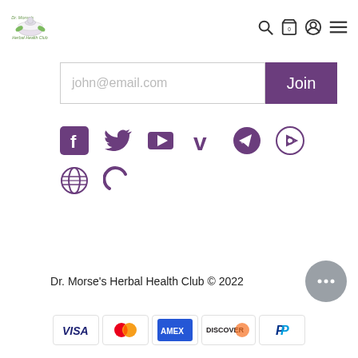[Figure (logo): Dr. Morse's Herbal Health Club logo with mortar and pestle icon and green italic text]
[Figure (infographic): Navigation icons: search, shopping cart with 0, user profile, hamburger menu]
[Figure (infographic): Email subscription input field with placeholder john@email.com and purple Join button]
[Figure (infographic): Social media icons row 1: Facebook, Twitter, YouTube, Vimeo, Telegram, Rumble]
[Figure (infographic): Social media icons row 2: Bitchute, Brighteon]
Dr. Morse's Herbal Health Club © 2022
[Figure (infographic): Payment method icons: VISA, Mastercard, AMEX, Discover, PayPal]